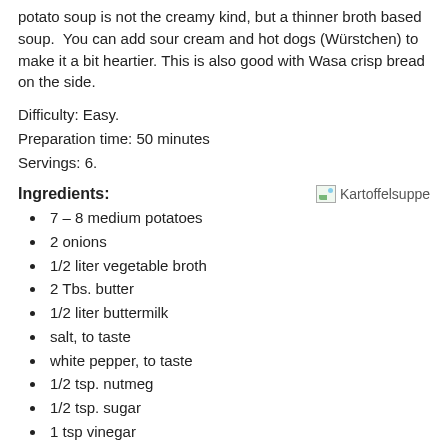potato soup is not the creamy kind, but a thinner broth based soup. You can add sour cream and hot dogs (Würstchen) to make it a bit heartier. This is also good with Wasa crisp bread on the side.
Difficulty: Easy.
Preparation time: 50 minutes
Servings: 6.
Ingredients:
[Figure (photo): Kartoffelsuppe - broken image placeholder with alt text 'Kartoffelsuppe']
7 – 8 medium potatoes
2 onions
1/2 liter vegetable broth
2 Tbs. butter
1/2 liter buttermilk
salt, to taste
white pepper, to taste
1/2 tsp. nutmeg
1/2 tsp. sugar
1 tsp vinegar
2 tsp. marjoram, flakes